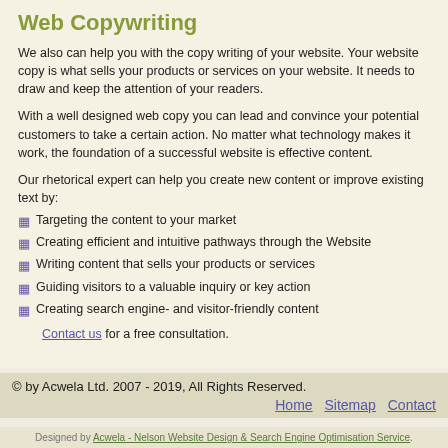Web Copywriting
We also can help you with the copy writing of your website. Your website copy is what sells your products or services on your website. It needs to draw and keep the attention of your readers.
With a well designed web copy you can lead and convince your potential customers to take a certain action. No matter what technology makes it work, the foundation of a successful website is effective content.
Our rhetorical expert can help you create new content or improve existing text by:
Targeting the content to your market
Creating efficient and intuitive pathways through the Website
Writing content that sells your products or services
Guiding visitors to a valuable inquiry or key action
Creating search engine- and visitor-friendly content Contact us for a free consultation.
© by Acwela Ltd. 2007 - 2019, All Rights Reserved. Home Sitemap Contact
Designed by Acwela - Nelson Website Design & Search Engine Optimisation Service.